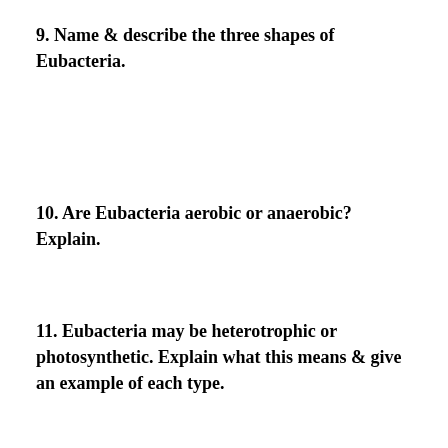9. Name & describe the three shapes of Eubacteria.
10. Are Eubacteria aerobic or anaerobic? Explain.
11. Eubacteria may be heterotrophic or photosynthetic. Explain what this means & give an example of each type.